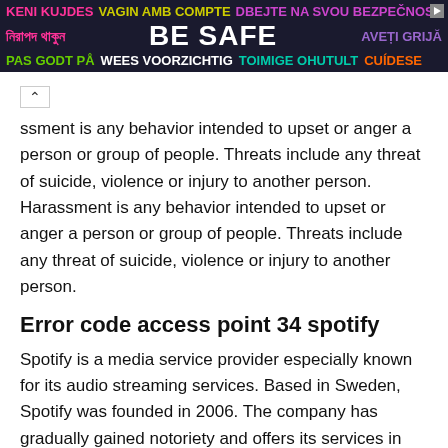[Figure (illustration): Multilingual safety banner with 'BE SAFE' in large white text on dark background, with safety messages in multiple languages in pink, yellow, purple, green, cyan colors. Ad icon in top right corner.]
ssment is any behavior intended to upset or anger a person or group of people. Threats include any threat of suicide, violence or injury to another person.
Harassment is any behavior intended to upset or anger a person or group of people. Threats include any threat of suicide, violence or injury to another person.
Error code access point 34 spotify
Spotify is a media service provider especially known for its audio streaming services. Based in Sweden, Spotify was founded in 2006. The company has gradually gained notoriety and offers its services in more and more countries. Along with the website, Spotify also has a